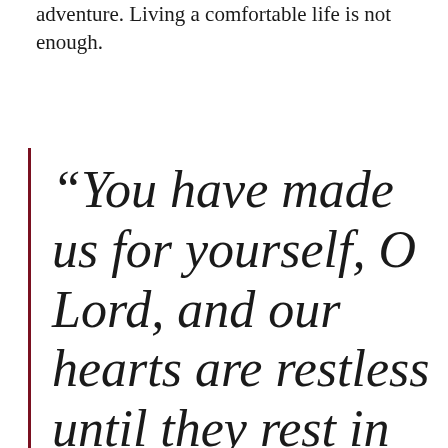adventure. Living a comfortable life is not enough.
“You have made us for yourself, O Lord, and our hearts are restless until they rest in you.” – St. Augustine